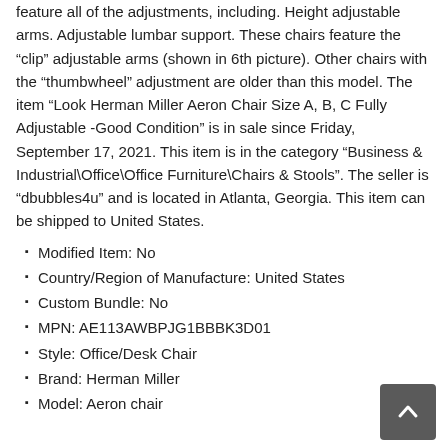feature all of the adjustments, including. Height adjustable arms. Adjustable lumbar support. These chairs feature the “clip” adjustable arms (shown in 6th picture). Other chairs with the “thumbwheel” adjustment are older than this model. The item “Look Herman Miller Aeron Chair Size A, B, C Fully Adjustable -Good Condition” is in sale since Friday, September 17, 2021. This item is in the category “Business & Industrial\Office\Office Furniture\Chairs & Stools”. The seller is “dbubbles4u” and is located in Atlanta, Georgia. This item can be shipped to United States.
Modified Item: No
Country/Region of Manufacture: United States
Custom Bundle: No
MPN: AE113AWBPJG1BBBK3D01
Style: Office/Desk Chair
Brand: Herman Miller
Model: Aeron chair